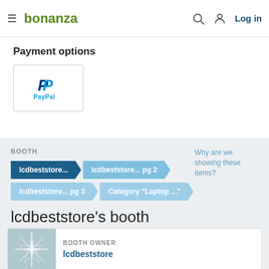bonanza | Log in
Payment options
[Figure (logo): PayPal logo in a bordered box]
BOOTH
lcdbeststore... | lcdbeststore... pg 2 | lcdbeststore... pg 3 | Category "Laptop ..."
Why are we showing these items?
lcdbeststore's booth
BOOTH OWNER
lcdbeststore